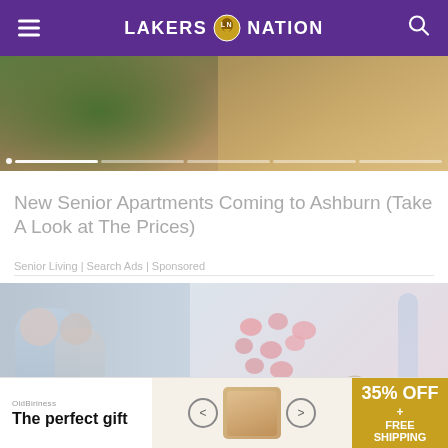LAKERS NATION
[Figure (photo): Aerial/landscape hero image with trees and terrain, with progress bar indicator at bottom]
New Senior Apartments Coming to Ashburn (Take A Look at The Prices)
Senior Living | Search Ads | Sponsored
[Figure (photo): Scientists or researchers looking at a large display screen showing blood cells and DNA diagrams]
[Figure (infographic): Bottom advertisement banner: The perfect gift, 35% OFF + FREE SHIPPING]